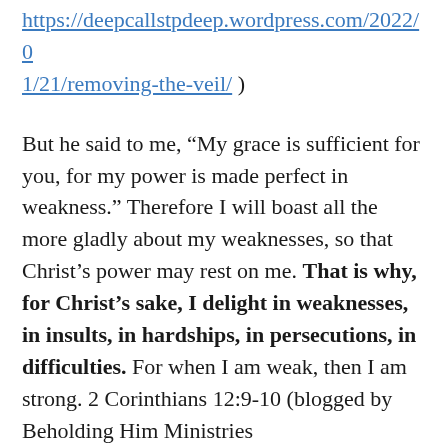https://deepcallstpdeep.wordpress.com/2022/01/21/removing-the-veil/ )
But he said to me, “My grace is sufficient for you, for my power is made perfect in weakness.” Therefore I will boast all the more gladly about my weaknesses, so that Christ’s power may rest on me. That is why, for Christ’s sake, I delight in weaknesses, in insults, in hardships, in persecutions, in difficulties. For when I am weak, then I am strong. 2 Corinthians 12:9-10 (blogged by Beholding Him Ministries https://beholdinghimministries.org/2022/01/22/leaning-on-the-everlasting-arms-2/ )
(Thank you Lord for your grace, your grace